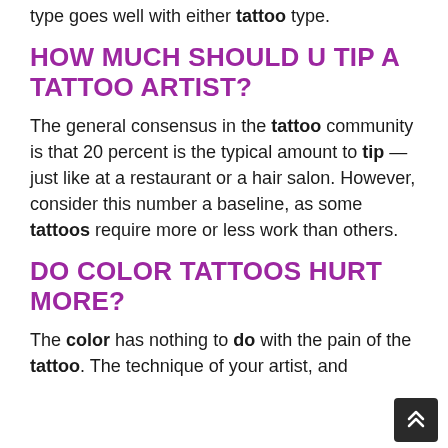type goes well with either tattoo type.
HOW MUCH SHOULD U TIP A TATTOO ARTIST?
The general consensus in the tattoo community is that 20 percent is the typical amount to tip — just like at a restaurant or a hair salon. However, consider this number a baseline, as some tattoos require more or less work than others.
DO COLOR TATTOOS HURT MORE?
The color has nothing to do with the pain of the tattoo. The technique of your artist, and